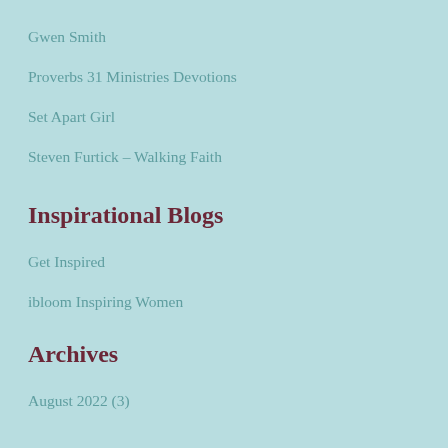Gwen Smith
Proverbs 31 Ministries Devotions
Set Apart Girl
Steven Furtick – Walking Faith
Inspirational Blogs
Get Inspired
ibloom Inspiring Women
Archives
August 2022 (3)